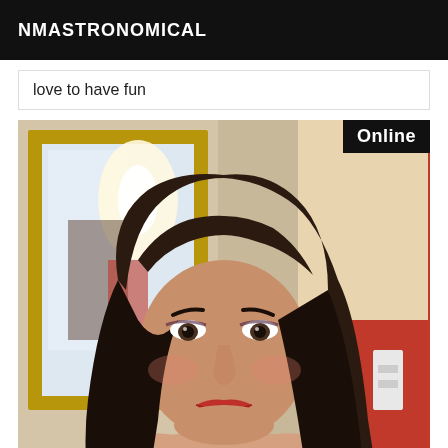NMASTRONOMICAL
love to have fun
[Figure (photo): A woman with long dark hair photographed in a room with a gold-framed mirror and an orange wall in the background. An 'Online' badge appears in the top-right corner of the photo.]